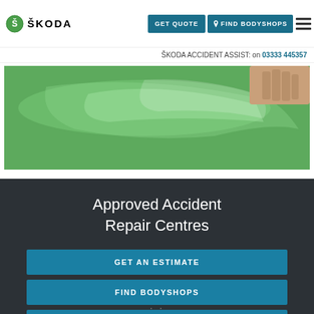ŠKODA | GET QUOTE | FIND BODYSHOPS
ŠKODA ACCIDENT ASSIST: on 03333 445357
[Figure (photo): Close-up of a green car body being inspected or repaired, with a hand visible at the top right corner.]
Approved Accident Repair Centres
GET AN ESTIMATE
FIND BODYSHOPS
BECOME APPROVED